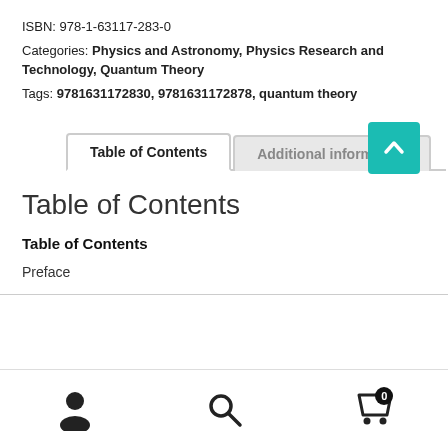ISBN: 978-1-63117-283-0
Categories: Physics and Astronomy, Physics Research and Technology, Quantum Theory
Tags: 9781631172830, 9781631172878, quantum theory
Table of Contents | Additional information
Table of Contents
Table of Contents
Preface